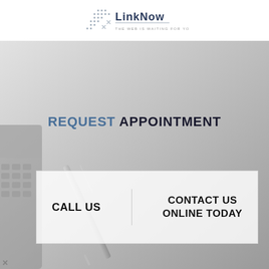[Figure (logo): LinkNow Media logo with tagline 'THE WEB IS WAITING FOR YOU']
[Figure (photo): Background image of a desk with a calculator, pen, and notepad in grayscale]
REQUEST APPOINTMENT
CALL US
CONTACT US ONLINE TODAY